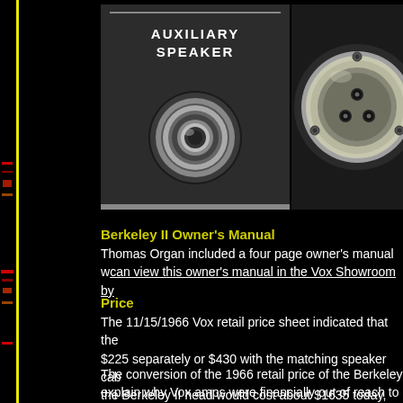[Figure (photo): Close-up photo of an 'AUXILIARY SPEAKER' panel with a mono jack socket on a dark metal surface]
[Figure (photo): Close-up photo of an XLR or multi-pin connector socket, metallic, circular, on a dark background]
Berkeley II Owner's Manual
Thomas Organ included a four page owner's manual w... can view this owner's manual in the Vox Showroom by...
Price
The 11/15/1966 Vox retail price sheet indicated that the $225 separately or $430 with the matching speaker cab the Berkeley II head would cost about $1635 today, the
The conversion of the 1966 retail price of the Berkeley explain why Vox amps were financially out of reach to